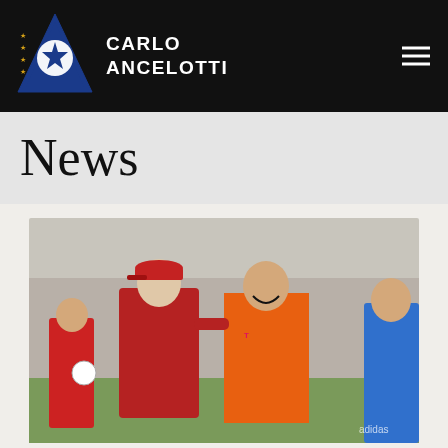CARLO ANCELOTTI
News
[Figure (photo): Carlo Ancelotti and Franck Ribery smiling and embracing during a Bayern Munich training session. Both wearing red/orange kits. Other players visible in background.]